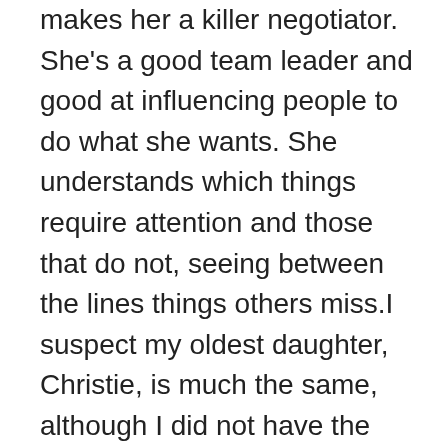makes her a killer negotiator. She's a good team leader and good at influencing people to do what she wants. She understands which things require attention and those that do not, seeing between the lines things others miss.I suspect my oldest daughter, Christie, is much the same, although I did not have the same opportunity to watch her develop and don't have as many examples as with Ginger.  But one comes to mind from a recent trip to Hawaii last year.  The girls were searching for a thermal pool mentioned on Trip Advisor but not published in any guidebooks.  When Christie asked some Hawaiian natives about it, she sensed a feeling from them that made her choose her words very carefully.  In retelling the story, it was clear her emotional intelligence was what led to a successful interaction and subsequent visit to a secret spa, a spot few tourists ever found.